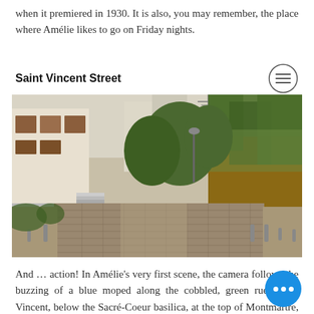when it premiered in 1930. It is also, you may remember, the place where Amélie likes to go on Friday nights.
Saint Vincent Street
[Figure (photo): A cobblestone street (rue Saint-Vincent) in Montmartre, Paris, flanked by white buildings with shutters on the left and an ivy-covered stone wall on the right, with trees visible in the background.]
And … action! In Amélie's very first scene, the camera follows the buzzing of a blue moped along the cobbled, green rue Saint-Vincent, below the Sacré-Coeur basilica, at the top of Montmartre, on the day of conception, of our heroine.